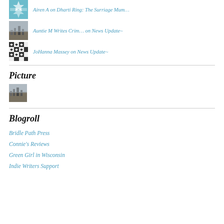Airen A on Dharti Ring: The Surriage Mum...
Auntie M Writes Crim… on News Update~
JoHanna Massey on News Update~
Picture
[Figure (photo): Small thumbnail photo of a gothic building]
Blogroll
Bridle Path Press
Connie's Reviews
Green Girl in Wisconsin
Indie Writers Support